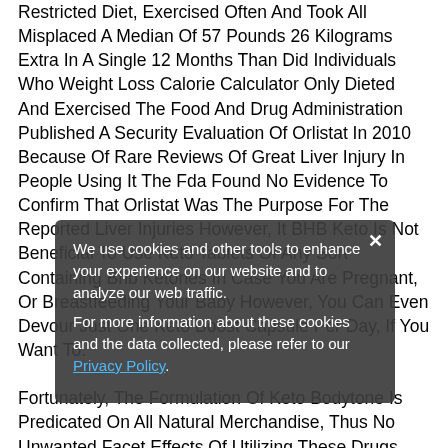Restricted Diet, Exercised Often And Took All Misplaced A Median Of 57 Pounds 26 Kilograms Extra In A Single 12 Months Than Did Individuals Who Weight Loss Calorie Calculator Only Dieted And Exercised The Food And Drug Administration Published A Security Evaluation Of Orlistat In 2010 Because Of Rare Reviews Of Great Liver Injury In People Using It The Fda Found No Evidence To Confirm That Orlistat Was The Purpose For The Reported Liver Injuries However, It BHB Keto Is Not Beneficial To Use Keto Tablets Of Any Sort Containing Bhb Ketones In Case You Are Pregnant, Or Breastfeeding Your Baby However, You Can Even Devour Just One Keto Boost Capsule Per Day, If You Want To. Fortunately, The Formulation Of Keto Bodytone Is Predicated On All Natural Merchandise, Thus No Unwanted Facet Effects Of Utilizing These Drugs Have Been Reported Ever The Body Best Way To Start Ketosis Responds Nicely
We use cookies and other tools to enhance your experience on our website and to analyze our web traffic. For more information about these cookies and the data collected, please refer to our Privacy Policy.